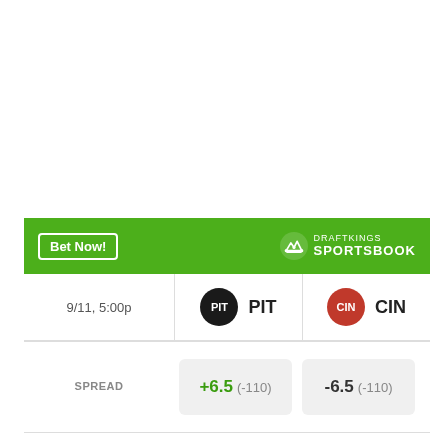[Figure (other): DraftKings Sportsbook betting widget showing PIT vs CIN on 9/11, 5:00p with spread, money line, and over/under odds]
|  | PIT | CIN |
| --- | --- | --- |
| 9/11, 5:00p | PIT | CIN |
| SPREAD | +6.5 (-110) | -6.5 (-110) |
| MONEY LINE | +240 | -285 |
| OVER UNDER | > 44 (-110) | < 44 (-110) |
Odds/Lines subject to change. See draftkings.com for details.